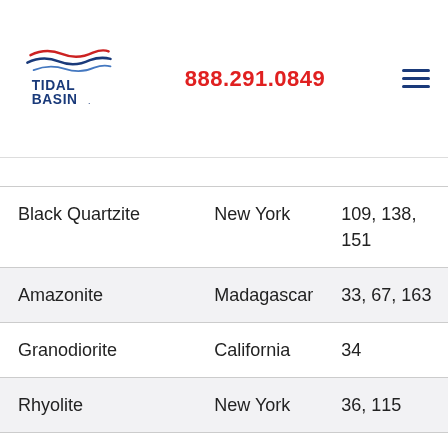[Figure (logo): Tidal Basin logo with stylized wave lines above the text 'TIDAL BASIN']
888.291.0849
| Black Quartzite | New York | 109, 138, 151 |
| Amazonite | Madagascar | 33, 67, 163 |
| Granodiorite | California | 34 |
| Rhyolite | New York | 36, 115 |
| Fuchsite | Brazil | 37 |
| Moonstone | India | 39, 162 |